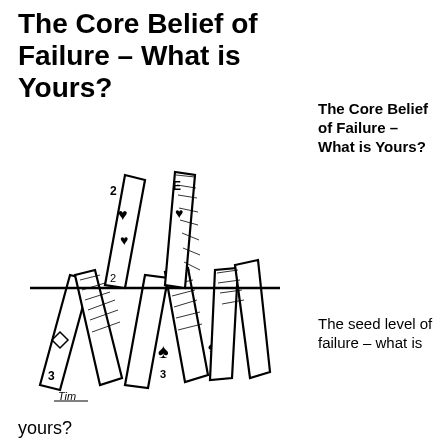The Core Belief of Failure – What is Yours?
[Figure (illustration): A hand-drawn illustration of a house of cards made from playing cards (showing hearts, diamonds, spades), with a 'Tim' artist signature at the bottom left.]
The Core Belief of Failure – What is Yours?
The seed level of failure – what is yours?